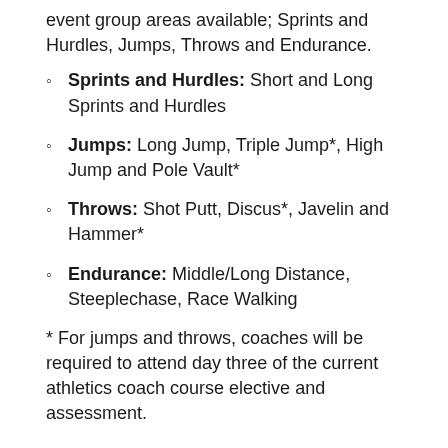event group areas available; Sprints and Hurdles, Jumps, Throws and Endurance.
Sprints and Hurdles: Short and Long Sprints and Hurdles
Jumps: Long Jump, Triple Jump*, High Jump and Pole Vault*
Throws: Shot Putt, Discus*, Javelin and Hammer*
Endurance: Middle/Long Distance, Steeplechase, Race Walking
* For jumps and throws, coaches will be required to attend day three of the current athletics coach course elective and assessment.
During the qualification, candidates will be asked to consider, plan for and adapt training to meet the needs of individuals who have a range of abilities, experiences